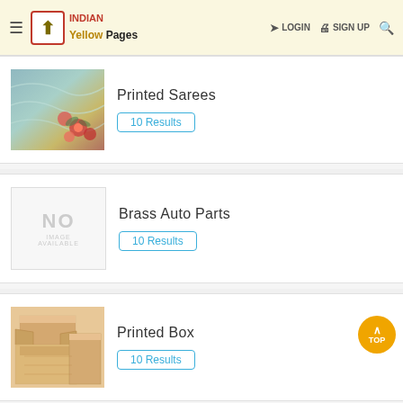INDIAN Yellow Pages — LOGIN  SIGN UP
[Figure (photo): Printed Sarees — colorful fabric]
Printed Sarees
10 Results
[Figure (photo): No Image Available placeholder]
Brass Auto Parts
10 Results
[Figure (photo): Printed Box — cardboard boxes]
Printed Box
10 Results